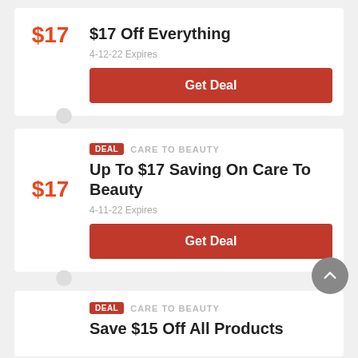$17 Off Everything
4-12-22 Expires
Get Deal
DEAL   CARE TO BEAUTY
Up To $17 Saving On Care To Beauty
4-11-22 Expires
Get Deal
DEAL   CARE TO BEAUTY
Save $15 Off All Products